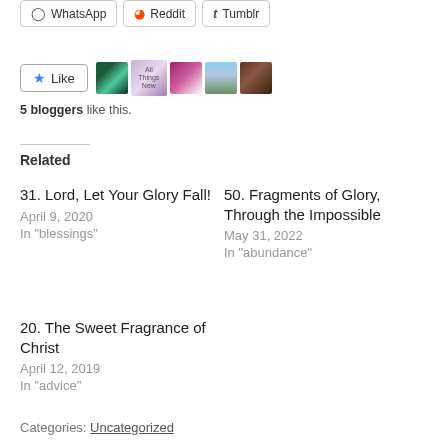[Figure (screenshot): Social share buttons: WhatsApp, Reddit, Tumblr]
[Figure (screenshot): Like button with star icon and 5 blogger avatar thumbnails]
5 bloggers like this.
Related
31. Lord, Let Your Glory Fall!
April 9, 2020
In "blessings"
50. Fragments of Glory, Through the Impossible
May 31, 2022
In "abundance"
20. The Sweet Fragrance of Christ
April 12, 2019
In "advice"
Categories: Uncategorized